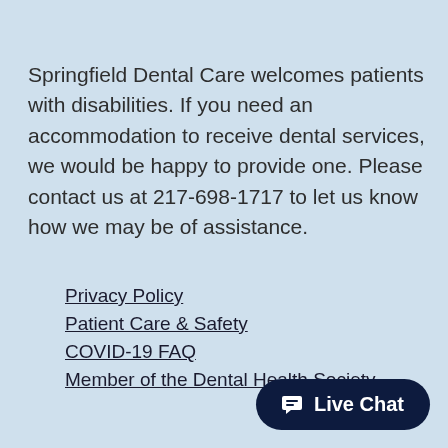Springfield Dental Care welcomes patients with disabilities. If you need an accommodation to receive dental services, we would be happy to provide one. Please contact us at 217-698-1717 to let us know how we may be of assistance.
Privacy Policy
Patient Care & Safety
COVID-19 FAQ
Member of the Dental Health Society